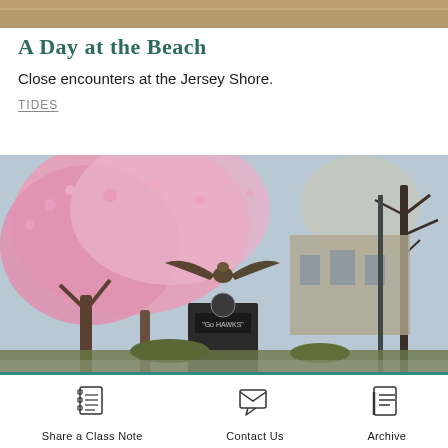[Figure (photo): Top strip of outdoor nature/beach scene photo]
A Day at the Beach
Close encounters at the Jersey Shore.
TIDES
[Figure (photo): Outdoor campus photo showing a bird statue (hawk) with wings spread on a dark pedestal reading 'Go HAWKS', surrounded by pink blooming cherry trees and bare trees, with a stone building in the background]
Share a Class Note   Contact Us   Archive